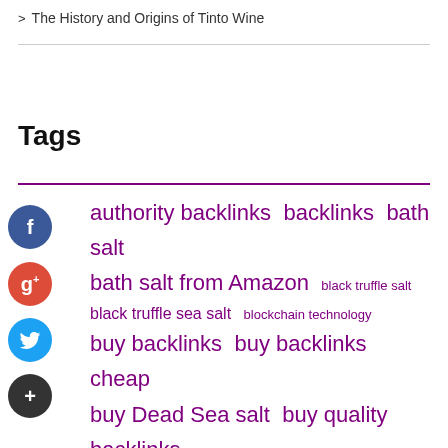> The History and Origins of Tinto Wine
Tags
authority backlinks
backlinks
bath salt
bath salt from Amazon
black truffle salt
black truffle sea salt
blockchain technology
buy backlinks
buy backlinks cheap
buy Dead Sea salt
buy quality backlinks
chatbot
crane near me
Dead Sea salt